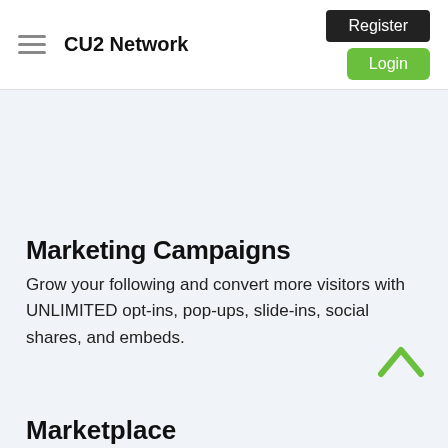CU2 Network
Marketing Campaigns
Grow your following and convert more visitors with UNLIMITED opt-ins, pop-ups, slide-ins, social shares, and embeds.
Marketplace